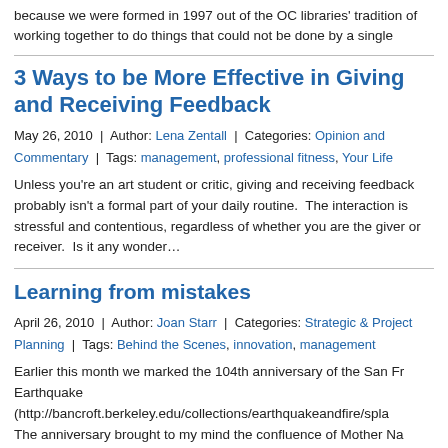because we were formed in 1997 out of the OC libraries' tradition of working together to do things that could not be done by a single
3 Ways to be More Effective in Giving and Receiving Feedback
May 26, 2010 | Author: Lena Zentall | Categories: Opinion and Commentary | Tags: management, professional fitness, Your Life
Unless you're an art student or critic, giving and receiving feedback probably isn't a formal part of your daily routine.  The interaction is stressful and contentious, regardless of whether you are the giver or receiver.  Is it any wonder…
Learning from mistakes
April 26, 2010 | Author: Joan Starr | Categories: Strategic & Project Planning | Tags: Behind the Scenes, innovation, management
Earlier this month we marked the 104th anniversary of the San Francisco Earthquake (http://bancroft.berkeley.edu/collections/earthquakeandfire/spla The anniversary brought to my mind the confluence of Mother Na